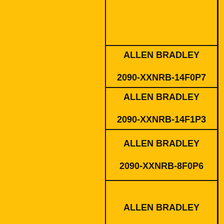ALLEN BRADLEY
2090-XXNRB-14F0P7
ALLEN BRADLEY
2090-XXNRB-14F1P3
ALLEN BRADLEY
2090-XXNRB-8F0P6
ALLEN BRADLEY
2090XXNPMF16S05
ALLEN BRADLEY
2094-BC02-M02-M